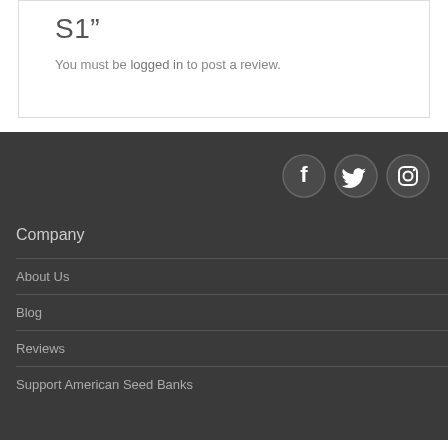S1”
You must be logged in to post a review.
[Figure (other): Social media icons: Facebook, Twitter, Instagram]
Company
About Us
Blog
Reviews
Support American Seed Banks